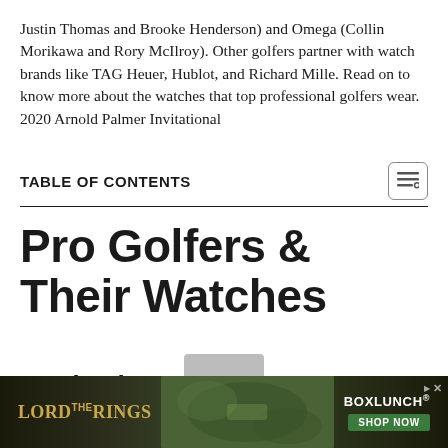Justin Thomas and Brooke Henderson) and Omega (Collin Morikawa and Rory McIlroy). Other golfers partner with watch brands like TAG Heuer, Hublot, and Richard Mille. Read on to know more about the watches that top professional golfers wear.
2020 Arnold Palmer Invitational
TABLE OF CONTENTS
Pro Golfers & Their Watches
Justin Thomas
[Figure (photo): Watch peek visible at bottom of page above advertisement banner]
[Figure (infographic): Advertisement banner for Lord of the Rings x BoxLunch collaboration with Shop Now button]